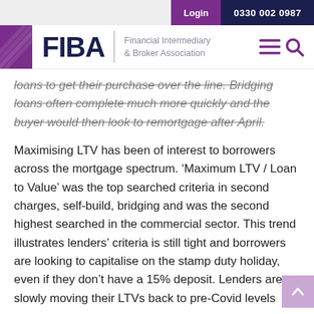Login  0330 002 0987
[Figure (logo): FIBA Financial Intermediary & Broker Association logo with purple bar, navigation hamburger and search icons]
loans to get their purchase over the line. Bridging loans often complete much more quickly and the buyer would then look to remortgage after April.
Maximising LTV has been of interest to borrowers across the mortgage spectrum. ‘Maximum LTV / Loan to Value’ was the top searched criteria in second charges, self-build, bridging and was the second highest searched in the commercial sector. This trend illustrates lenders’ criteria is still tight and borrowers are looking to capitalise on the stamp duty holiday, even if they don’t have a 15% deposit. Lenders are slowly moving their LTVs back to pre-Covid levels